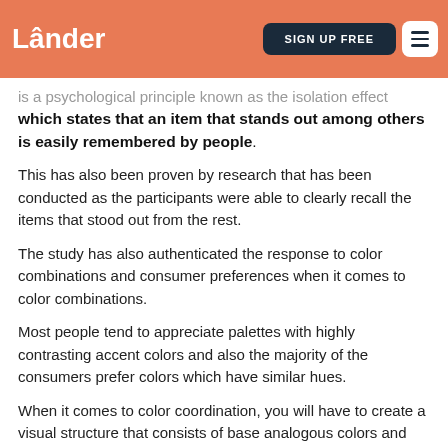Lander | SIGN UP FREE
is a psychological principle known as the isolation effect which states that an item that stands out among others is easily remembered by people.
This has also been proven by research that has been conducted as the participants were able to clearly recall the items that stood out from the rest.
The study has also authenticated the response to color combinations and consumer preferences when it comes to color combinations.
Most people tend to appreciate palettes with highly contrasting accent colors and also the majority of the consumers prefer colors which have similar hues.
When it comes to color coordination, you will have to create a visual structure that consists of base analogous colors and then contrast them with colors that complement ascent.
You can alternatively choose to create a hierarchy by utilizing